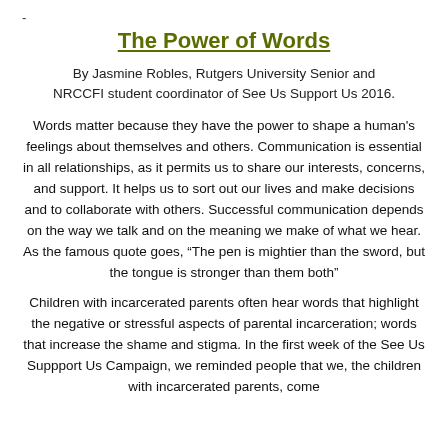-
The Power of Words
By Jasmine Robles, Rutgers University Senior and NRCCFI student coordinator of See Us Support Us 2016.
Words matter because they have the power to shape a human’s feelings about themselves and others. Communication is essential in all relationships, as it permits us to share our interests, concerns, and support. It helps us to sort out our lives and make decisions and to collaborate with others. Successful communication depends on the way we talk and on the meaning we make of what we hear. As the famous quote goes, “The pen is mightier than the sword, but the tongue is stronger than them both”
Children with incarcerated parents often hear words that highlight the negative or stressful aspects of parental incarceration; words that increase the shame and stigma. In the first week of the See Us Suppport Us Campaign, we reminded people that we, the children with incarcerated parents, come